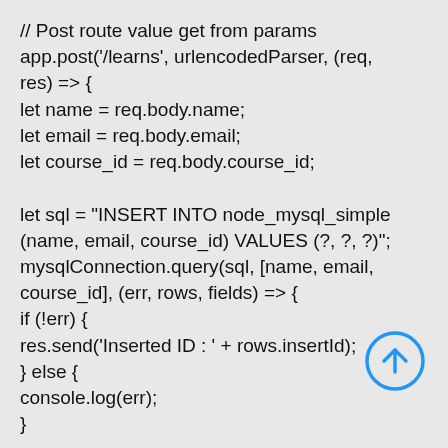[Figure (screenshot): Code snippet showing a Node.js POST route handler that inserts data into a MySQL database using parameterized queries. Includes an up-arrow navigation icon in the bottom right corner.]